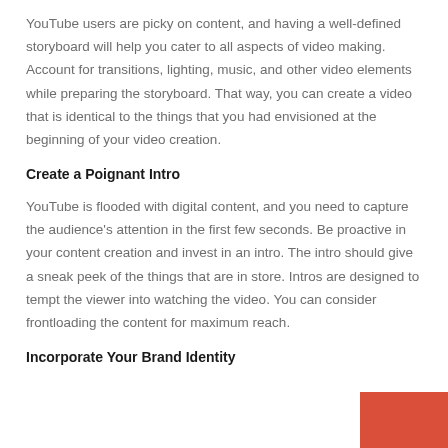YouTube users are picky on content, and having a well-defined storyboard will help you cater to all aspects of video making. Account for transitions, lighting, music, and other video elements while preparing the storyboard. That way, you can create a video that is identical to the things that you had envisioned at the beginning of your video creation.
Create a Poignant Intro
YouTube is flooded with digital content, and you need to capture the audience's attention in the first few seconds. Be proactive in your content creation and invest in an intro. The intro should give a sneak peek of the things that are in store. Intros are designed to tempt the viewer into watching the video. You can consider frontloading the content for maximum reach.
Incorporate Your Brand Identity